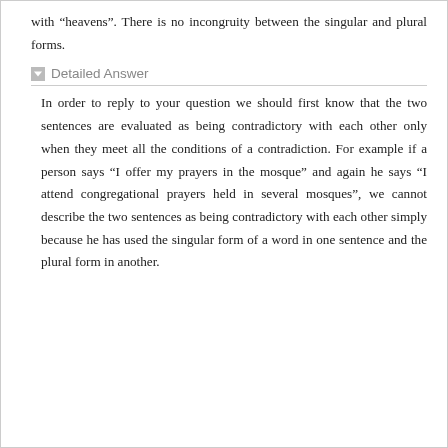with “heapens”. There is no incongruity between the singular and plural forms.
Detailed Answer
In order to reply to your question we should first know that the two sentences are evaluated as being contradictory with each other only when they meet all the conditions of a contradiction. For example if a person says “I offer my prayers in the mosque” and again he says “I attend congregational prayers held in several mosques”, we cannot describe the two sentences as being contradictory with each other simply because he has used the singular form of a word in one sentence and the plural form in another.